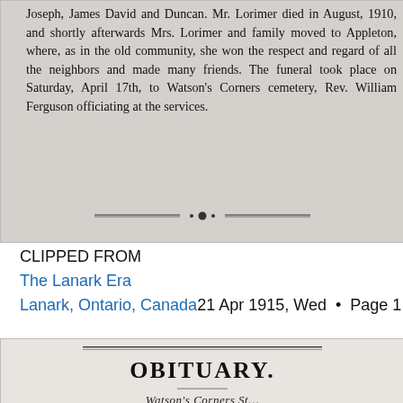[Figure (photo): Scanned newspaper clipping showing text of an obituary article about Mrs. Lorimer, with a decorative divider line at the bottom.]
CLIPPED FROM
The Lanark Era
Lanark, Ontario, Canada21 Apr 1915, Wed • Page 1
[Figure (photo): Scanned newspaper clipping showing the header 'OBITUARY.' with double horizontal rules above and a single rule below, and partial text beneath.]